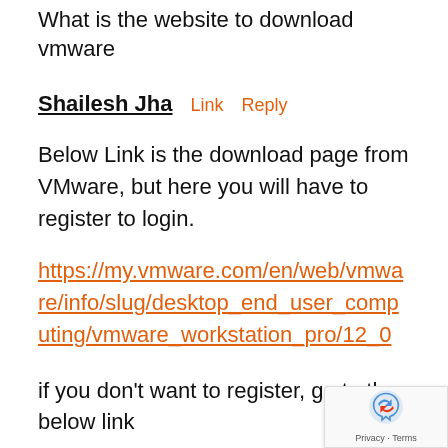What is the website to download vmware
Shailesh Jha   Link   Reply
Below Link is the download page from VMware, but here you will have to register to login.
https://my.vmware.com/en/web/vmware/info/slug/desktop_end_user_computing/vmware_workstation_pro/12_0
if you don't want to register, go to the below link
http://filehippo.com/download_vmware-